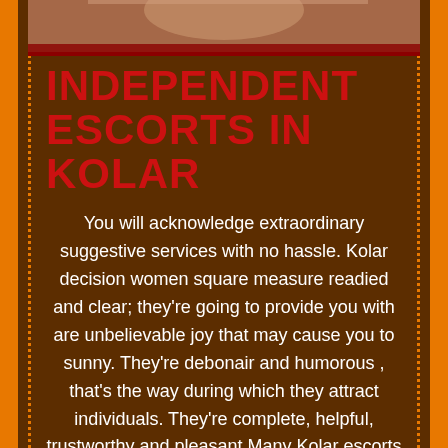[Figure (photo): Partial photo of a person at the top of the page, cropped]
INDEPENDENT ESCORTS IN KOLAR
You will acknowledge extraordinary suggestive services with no hassle. Kolar decision women square measure readied and clear; they're going to provide you with are unbelievable joy that may cause you to sunny. They're debonair and humorous , that's the way during which they attract individuals. They're complete, helpful, trustworthy and pleasant.Many Kolar escorts fill in as professional and supervise everything in solitude. They don't seem to be connected with any escort association and have their own solid customers. Free Kolar Escorts commit to